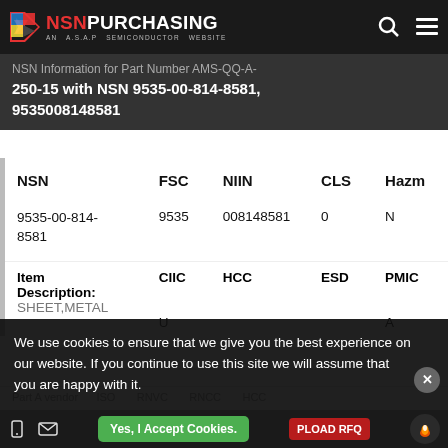NSN PURCHASING - AN A.S.A.P SEMICONDUCTOR WEBSITE
NSN Information for Part Number AMS-QQ-A-250-15 with NSN 9535-00-814-8581, 9535008148581
| NSN | FSC | NIIN | CLS | Hazm |
| --- | --- | --- | --- | --- |
| 9535-00-814-8581 | 9535 | 008148581 | 0 | N |
| Item Description:
SHEET,METAL | CIIC
U | HCC | ESD | PMIC
A |
We use cookies to ensure that we give you the best experience on our website. If you continue to use this site we will assume that you are happy with it.
Yes, I Accept Cookies. | UPLOAD RFQ